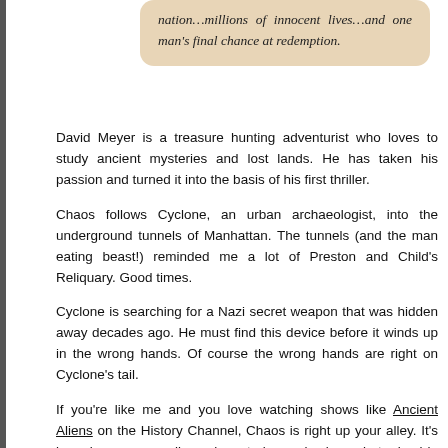nation…millions of innocent lives…and one man's final chance at redemption.
David Meyer is a treasure hunting adventurist who loves to study ancient mysteries and lost lands. He has taken his passion and turned it into the basis of his first thriller.
Chaos follows Cyclone, an urban archaeologist, into the underground tunnels of Manhattan. The tunnels (and the man eating beast!) reminded me a lot of Preston and Child's Reliquary. Good times.
Cyclone is searching for a Nazi secret weapon that was hidden away decades ago. He must find this device before it winds up in the wrong hands. Of course the wrong hands are right on Cyclone's tail.
If you're like me and you love watching shows like Ancient Aliens on the History Channel, Chaos is right up your alley. It's based on some really cool mysteries and science but mixed in with bad guys and monsters. You can check out more about Chaos and